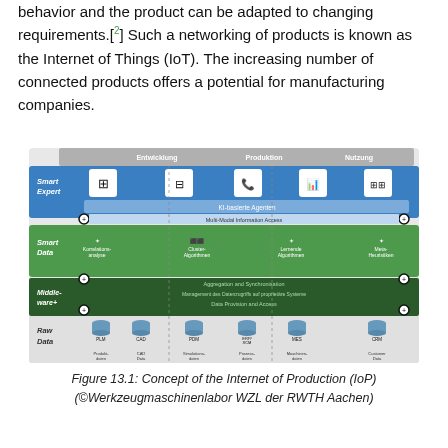behavior and the product can be adapted to changing requirements.[2] Such a networking of products is known as the Internet of Things (IoT). The increasing number of connected products offers a potential for manufacturing companies.
[Figure (infographic): Concept diagram of the Internet of Production (IoP) showing four layers: Smart Expert (blue, top), Smart Data (green), Middleware+ (dark), Raw Data (grey/bottom), organized across three lifecycle phases: Entwicklung, Produktion, Nutzung. Smart Expert layer shows five icon boxes and an 'KI-basierte Agenten' bar. Smart Data layer shows Korrelationsanalyse, Cluster-Algorithmen, Lernende Algorithmen, Meta-Heuristiken. Middleware+ shows Aggregation and Synchronisation and Management des Datenzugriffs auf proprietäre Systeme and Data Provision and Access. Raw Data layer shows PLM, CAD, PDM, ERP/SCM, MES, CRM databases with corresponding data types below.]
Figure 13.1: Concept of the Internet of Production (IoP) (©Werkzeugmaschinenlabor WZL der RWTH Aachen)